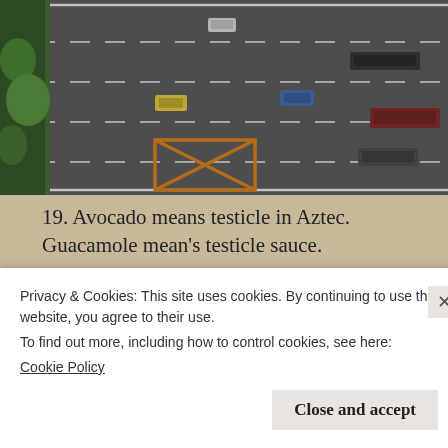[Figure (photo): Aerial view of a multi-lane road with several cars including a yellow taxi and blue car, viewed from above. Orange construction markings visible on road surface. Trees visible at left edge.]
19. Avocado means testicle in Aztec. Guacamole mean's testicle sauce.
[Figure (photo): Close-up photograph of green avocados hanging on a tree branch with large green leaves in the background.]
Privacy & Cookies: This site uses cookies. By continuing to use this website, you agree to their use.
To find out more, including how to control cookies, see here:
Cookie Policy
Close and accept